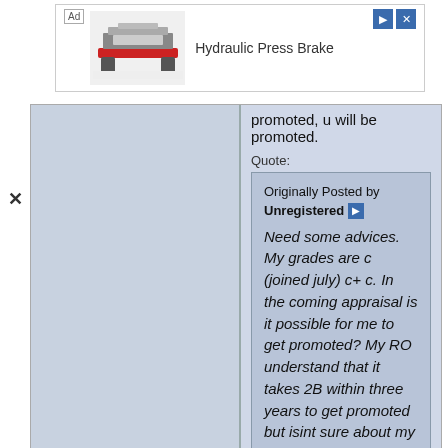[Figure (screenshot): Ad banner for Hydraulic Press Brake showing machine image and navigation buttons]
promoted, u will be promoted.
Quote:
Originally Posted by Unregistered
Need some advices. My grades are c (joined july) c+ c. In the coming appraisal is it possible for me to get promoted? My RO understand that it takes 2B within three years to get promoted but isint sure about my current stat board.
19-08-2022 10:12 AM
Unregistered
Quote:
Originally Posted by Unregistered
☺ miracle will happen. Wait for Oct.